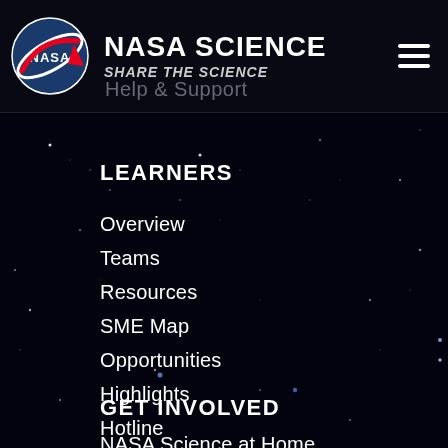NASA SCIENCE | SHARE THE SCIENCE
Help & Support
LEARNERS
Overview
Teams
Resources
SME Map
Opportunities
Highlights
Hotline
SpacePlace ↗
GET INVOLVED
NASA Science at Home